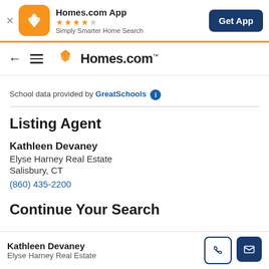[Figure (screenshot): Homes.com app banner with orange icon, star rating, tagline, and Get App button]
[Figure (logo): Homes.com navigation bar with back arrow, hamburger menu, and Homes.com logo]
School data provided by GreatSchools ℹ
Listing Agent
Kathleen Devaney
Elyse Harney Real Estate
Salisbury, CT
(860) 435-2200
Continue Your Search
Kathleen Devaney
Elyse Harney Real Estate